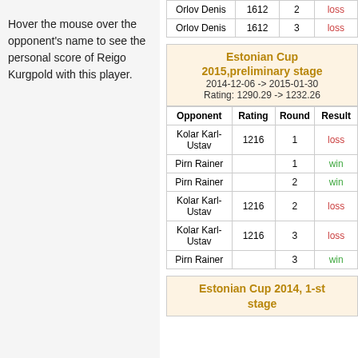Hover the mouse over the opponent's name to see the personal score of Reigo Kurgpold with this player.
| Opponent | Rating | Round | Result |
| --- | --- | --- | --- |
| Orlov Denis | 1612 | 2 | loss |
| Orlov Denis | 1612 | 3 | loss |
Estonian Cup 2015,preliminary stage
2014-12-06 -> 2015-01-30
Rating: 1290.29 -> 1232.26
| Opponent | Rating | Round | Result |
| --- | --- | --- | --- |
| Kolar Karl-Ustav | 1216 | 1 | loss |
| Pirn Rainer |  | 1 | win |
| Pirn Rainer |  | 2 | win |
| Kolar Karl-Ustav | 1216 | 2 | loss |
| Kolar Karl-Ustav | 1216 | 3 | loss |
| Pirn Rainer |  | 3 | win |
Estonian Cup 2014, 1-st stage